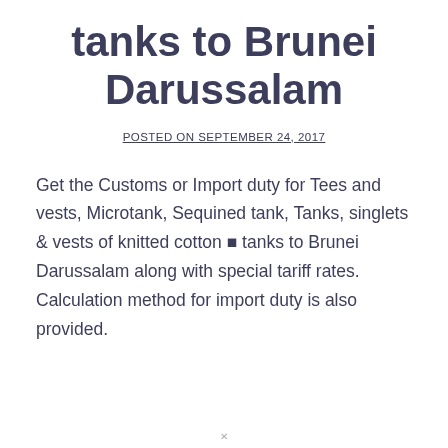tanks to Brunei Darussalam
POSTED ON SEPTEMBER 24, 2017
Get the Customs or Import duty for Tees and vests, Microtank, Sequined tank, Tanks, singlets & vests of knitted cotton ■ tanks to Brunei Darussalam along with special tariff rates. Calculation method for import duty is also provided.